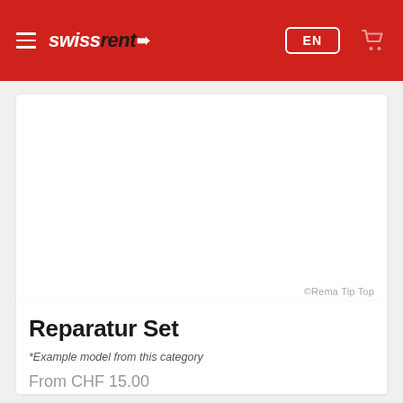swissrent
[Figure (photo): Product image area showing a repair set kit (Rema Tip Top brand), white background, copyright ©Rema Tip Top]
©Rema Tip Top
Reparatur Set
*Example model from this category
From CHF 15.00